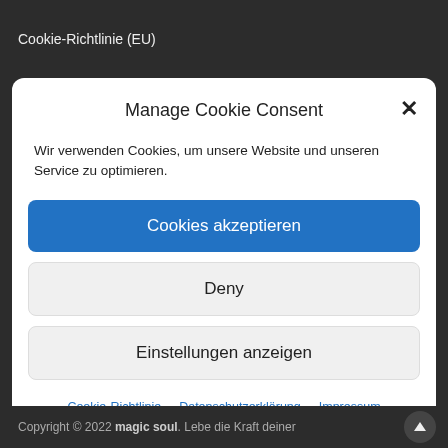Cookie-Richtlinie (EU)
Manage Cookie Consent
Wir verwenden Cookies, um unsere Website und unseren Service zu optimieren.
Cookies akzeptieren
Deny
Einstellungen anzeigen
Cookie-Richtlinie   Datenschutzerklärung   Impressum
Copyright © 2022 magic soul. Lebe die Kraft deiner